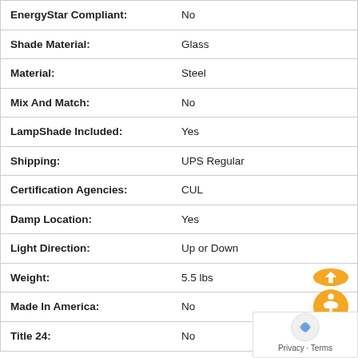| Attribute | Value |
| --- | --- |
| EnergyStar Compliant: | No |
| Shade Material: | Glass |
| Material: | Steel |
| Mix And Match: | No |
| LampShade Included: | Yes |
| Shipping: | UPS Regular |
| Certification Agencies: | CUL |
| Damp Location: | Yes |
| Light Direction: | Up or Down |
| Weight: | 5.5 lbs |
| Made In America: | No |
| Title 24: | No |